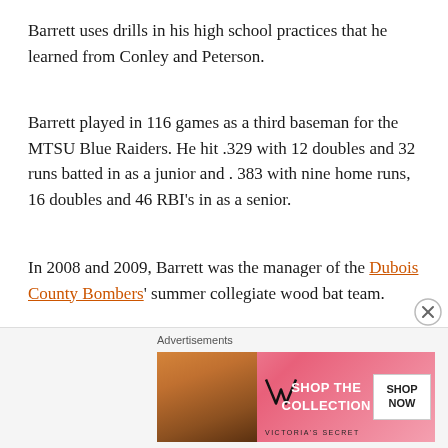Barrett uses drills in his high school practices that he learned from Conley and Peterson.
Barrett played in 116 games as a third baseman for the MTSU Blue Raiders. He hit .329 with 12 doubles and 32 runs batted in as a junior and . 383 with nine home runs, 16 doubles and 46 RBI's in as a senior.
In 2008 and 2009, Barrett was the manager of the Dubois County Bombers' summer collegiate wood bat team.
He began his teaching career and was a football assistant at Evansville Harrison High School on the staffs of Cory Brunson and Lane Oxley prior to Princeton Community.
[Figure (infographic): Victoria's Secret advertisement banner with logo, 'SHOP THE COLLECTION' text, and 'SHOP NOW' button on pink background with model photo]